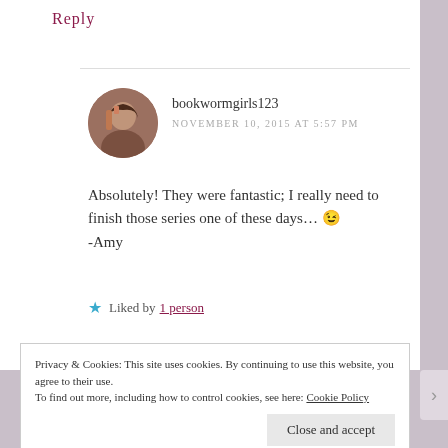Reply
bookwormgirls123
NOVEMBER 10, 2015 AT 5:57 PM
Absolutely! They were fantastic; I really need to finish those series one of these days… 😉
-Amy
★ Liked by 1 person
Privacy & Cookies: This site uses cookies. By continuing to use this website, you agree to their use.
To find out more, including how to control cookies, see here: Cookie Policy